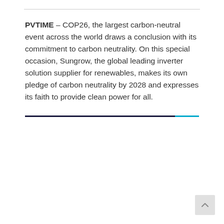PVTIME – COP26, the largest carbon-neutral event across the world draws a conclusion with its commitment to carbon neutrality. On this special occasion, Sungrow, the global leading inverter solution supplier for renewables, makes its own pledge of carbon neutrality by 2028 and expresses its faith to provide clean power for all.